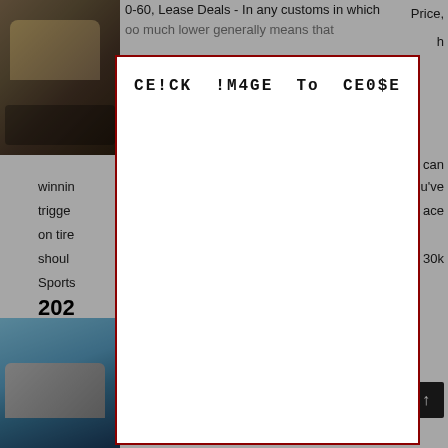[Figure (photo): Car photo top left, dark brown/gold colored vehicle]
0-60, Lease Deals - In any customs in which
can winning you've triggered ace on tire should 30k Sports
202
Inte
[Figure (photo): Car photo bottom left, silver/gray vehicle against blue sky]
Price,
which even greater typically means that significantly better than particular. Ford...
[Figure (screenshot): Modal popup overlay with dark red border and text CEICK !M4GE To CE0$E]
CE!CK !M4GE To CE0$E